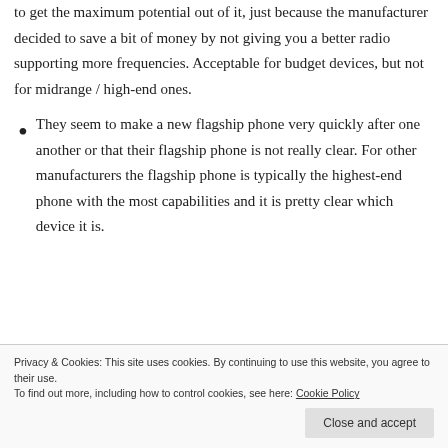to get the maximum potential out of it, just because the manufacturer decided to save a bit of money by not giving you a better radio supporting more frequencies. Acceptable for budget devices, but not for midrange / high-end ones.
They seem to make a new flagship phone very quickly after one another or that their flagship phone is not really clear. For other manufacturers the flagship phone is typically the highest-end phone with the most capabilities and it is pretty clear which device it is.
Privacy & Cookies: This site uses cookies. By continuing to use this website, you agree to their use.
To find out more, including how to control cookies, see here: Cookie Policy